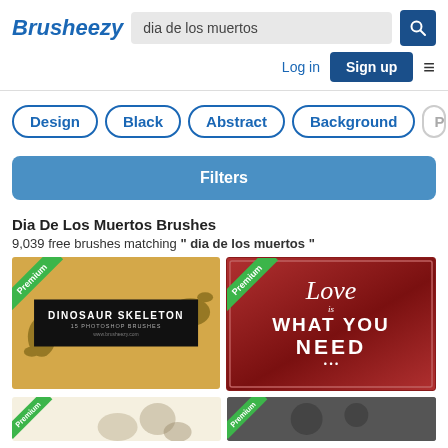Brusheezy
dia de los muertos
Design
Black
Abstract
Background
Patte
Filters
Dia De Los Muertos Brushes
9,039 free brushes matching " dia de los muertos "
[Figure (screenshot): Dinosaur Skeleton Photoshop brushes thumbnail with golden background and dinosaur silhouettes, labeled DINOSAUR SKELETON 15 PHOTOSHOP BRUSHES, with Premium badge]
[Figure (screenshot): Love is What You Need typography design on red gradient background with Premium badge]
[Figure (screenshot): Partial thumbnail bottom left with Premium badge]
[Figure (screenshot): Partial thumbnail bottom right with Premium badge]